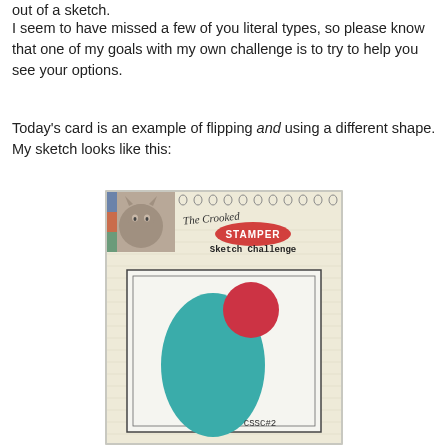out of a sketch.
I seem to have missed a few of you literal types, so please know that one of my goals with my own challenge is to try to help you see your options.
Today's card is an example of flipping and using a different shape. My sketch looks like this:
[Figure (illustration): The Crooked Stamper Sketch Challenge card sketch showing a teal oval in the center with a red circle overlapping at the top right, labeled CSSC#2. The top of the image has a cat photo, spiral notebook rings, and a handwritten logo with a red stamp reading STAMPER.]